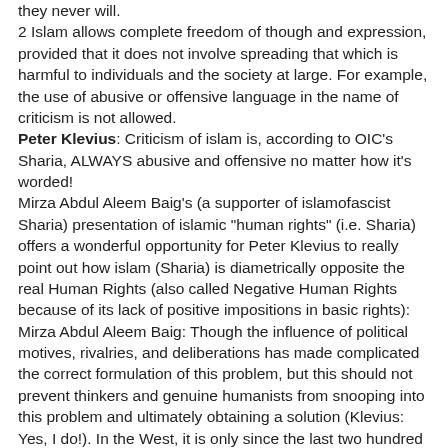they never will.
2 Islam allows complete freedom of though and expression, provided that it does not involve spreading that which is harmful to individuals and the society at large. For example, the use of abusive or offensive language in the name of criticism is not allowed.
Peter Klevius: Criticism of islam is, according to OIC's Sharia, ALWAYS abusive and offensive no matter how it's worded!
Mirza Abdul Aleem Baig's (a supporter of islamofascist Sharia) presentation of islamic "human rights" (i.e. Sharia) offers a wonderful opportunity for Peter Klevius to really point out how islam (Sharia) is diametrically opposite the real Human Rights (also called Negative Human Rights because of its lack of positive impositions in basic rights):
Mirza Abdul Aleem Baig: Though the influence of political motives, rivalries, and deliberations has made complicated the correct formulation of this problem, but this should not prevent thinkers and genuine humanists from snooping into this problem and ultimately obtaining a solution (Klevius: Yes, I do!). In the West, it is only since the last two hundred years or so that human right became a subject of eminence